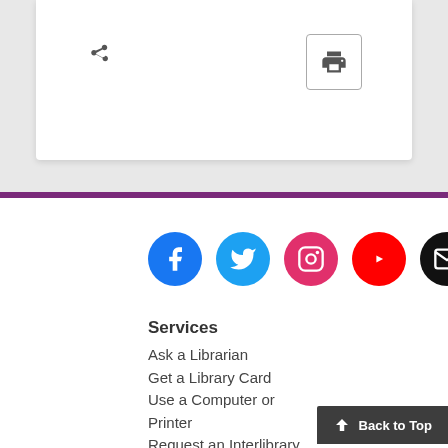[Figure (screenshot): White card with share icon on the left and a print button (printer icon in a bordered box) on the right]
[Figure (infographic): Row of five social media icons: Facebook (blue), Twitter (light blue), Instagram (pink/red), YouTube (red), Email (black)]
Services
Ask a Librarian
Get a Library Card
Use a Computer or Printer
Request an Interlibrary Loan
Suggest a Purchase
eBooks Support
Order a Photo Reproduction
Private Event Rentals
Back to Top